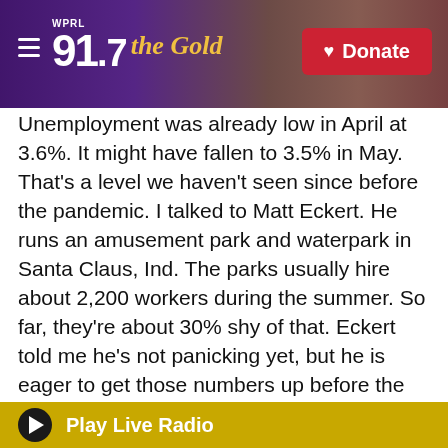WPRL 91.7 The Gold | Donate
Unemployment was already low in April at 3.6%. It might have fallen to 3.5% in May. That's a level we haven't seen since before the pandemic. I talked to Matt Eckert. He runs an amusement park and waterpark in Santa Claus, Ind. The parks usually hire about 2,200 workers during the summer. So far, they're about 30% shy of that. Eckert told me he's not panicking yet, but he is eager to get those numbers up before the peak of the summer season.
MATT ECKERT: Our full-time staff jumps in and helps when need be. I've ran my share of rides. I've made my share of pizzas. I've powdered my share
Play Live Radio